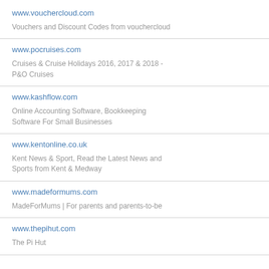www.vouchercloud.com
Vouchers and Discount Codes from vouchercloud
www.pocruises.com
Cruises & Cruise Holidays 2016, 2017 & 2018 - P&O Cruises
www.kashflow.com
Online Accounting Software, Bookkeeping Software For Small Businesses
www.kentonline.co.uk
Kent News & Sport, Read the Latest News and Sports from Kent & Medway
www.madeformums.com
MadeForMums | For parents and parents-to-be
www.thepihut.com
The Pi Hut